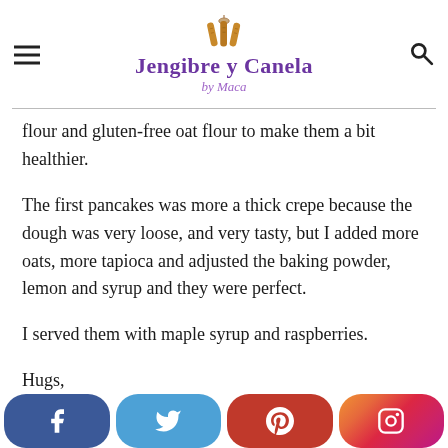Jengibre y Canela by Maca
flour and gluten-free oat flour to make them a bit healthier.
The first pancakes was more a thick crepe because the dough was very loose, and very tasty, but I added more oats, more tapioca and adjusted the baking powder, lemon and syrup and they were perfect.
I served them with maple syrup and raspberries.
Hugs,